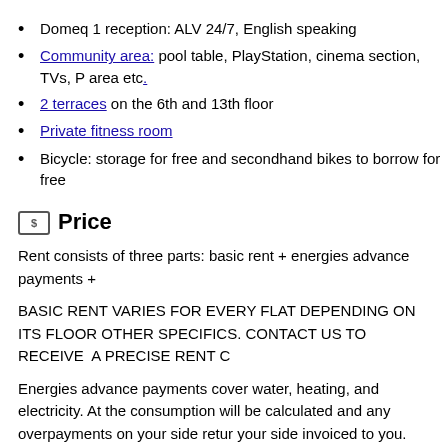Domeq 1 reception: ALV 24/7, English speaking
Community area: pool table, PlayStation, cinema section, TVs, P area etc.
2 terraces on the 6th and 13th floor
Private fitness room
Bicycle: storage for free and secondhand bikes to borrow for free
Price
Rent consists of three parts: basic rent + energies advance payments +
BASIC RENT VARIES FOR EVERY FLAT DEPENDING ON ITS FLOOR OTHER SPECIFICS. CONTACT US TO RECEIVE A PRECISE RENT C
Energies advance payments cover water, heating, and electricity. At the consumption will be calculated and any overpayments on your side retur your side invoiced to you.
Extra services can, but do not have to be added to the basic rent upon t
REGULAR CLEANING SERVICE
FITNESS ROOM privileges (in Domeq 1)
INTERNET CONNECTION
For detailed information and a price list please contact us.